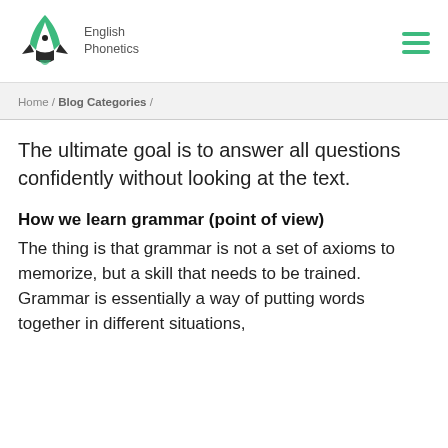English Phonetics
Home / Blog Categories /
The ultimate goal is to answer all questions confidently without looking at the text.
How we learn grammar (point of view)
The thing is that grammar is not a set of axioms to memorize, but a skill that needs to be trained. Grammar is essentially a way of putting words together in different situations,